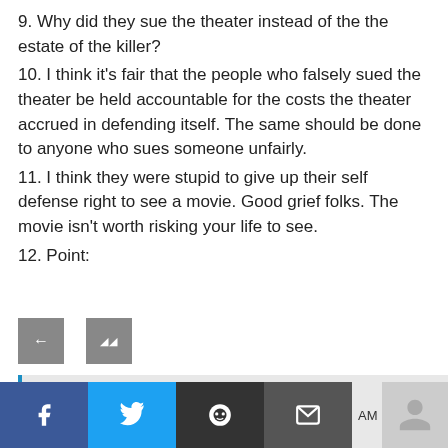9. Why did they sue the theater instead of the the estate of the killer?
10. I think it's fair that the people who falsely sued the theater be held accountable for the costs the theater accrued in defending itself. The same should be done to anyone who sues someone unfairly.
11. I think they were stupid to give up their self defense right to see a movie. Good grief folks. The movie isn't worth risking your life to see.
12. Point:
[Figure (screenshot): Navigation buttons (back arrow and an icon) and a comment/reply bar with blue left border, plus a social sharing bar at the bottom with Facebook, Twitter, Reddit, Email icons and a user avatar placeholder.]